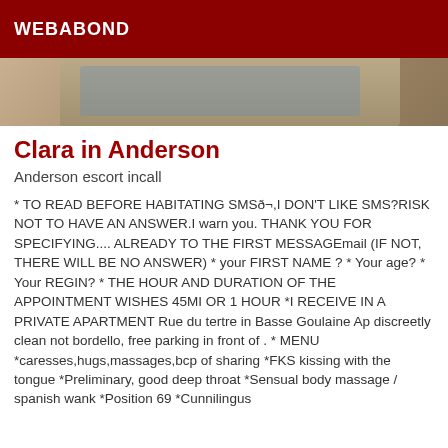WEBABOND
[Figure (photo): Partial photo of a person, cropped showing torso/shoulder area with blue clothing, brownish skin tones visible]
Clara in Anderson
Anderson escort incall
* TO READ BEFORE HABITATING SMSð¬,I DON'T LIKE SMS?RISK NOT TO HAVE AN ANSWER.I warn you. THANK YOU FOR SPECIFYING.... ALREADY TO THE FIRST MESSAGEmail (IF NOT, THERE WILL BE NO ANSWER) * your FIRST NAME ? * Your age? * Your REGIN? * THE HOUR AND DURATION OF THE APPOINTMENT WISHES 45MI OR 1 HOUR *I RECEIVE IN A PRIVATE APARTMENT Rue du tertre in Basse Goulaine Ap discreetly clean not bordello, free parking in front of . * MENU *caresses,hugs,massages,bcp of sharing *FKS kissing with the tongue *Preliminary, good deep throat *Sensual body massage / spanish wank *Position 69 *Cunnilingus